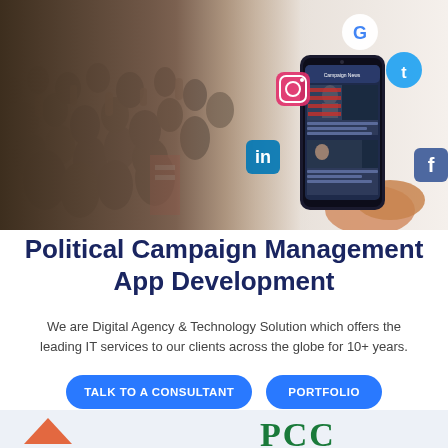[Figure (photo): Composite image: left side shows a large crowd of people at a political rally with raised fists; right side shows a hand holding a smartphone displaying a news app, with social media icons (Google, Instagram, Twitter, LinkedIn, Facebook) floating above.]
Political Campaign Management App Development
We are Digital Agency & Technology Solution which offers the leading IT services to our clients across the globe for 10+ years.
TALK TO A CONSULTANT   PORTFOLIO
[Figure (logo): Partial footer area with a green PCC logo text and a small red/orange triangle icon on the left, on a light blue-grey background.]